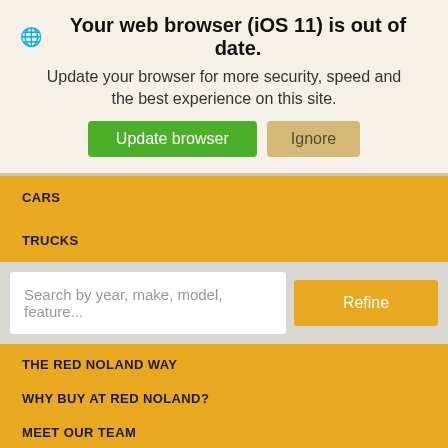🌐 Your web browser (iOS 11) is out of date.
Update your browser for more security, speed and the best experience on this site.
Update browser | Ignore
CARS
TRUCKS
Search by year, make, model, feature...
THE RED NOLAND WAY
WHY BUY AT RED NOLAND?
MEET OUR TEAM
LOCATIONS
TALK TO US
VALUE YOUR TRADE